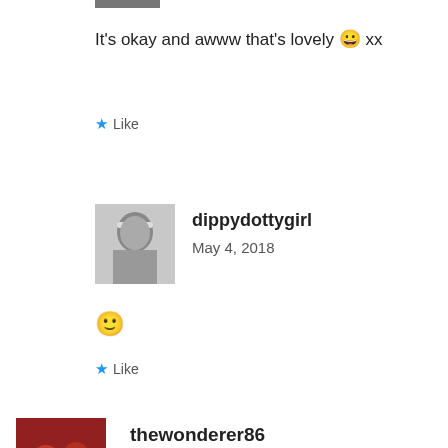It's okay and awww that's lovely 😀 xx
★ Like
[Figure (photo): Black and white profile photo of a young girl with a headband]
dippydottygirl
May 4, 2018
🙂
★ Like
[Figure (photo): Profile photo showing henna-decorated hands with red background]
thewonderer86
May 3, 2018  Reply